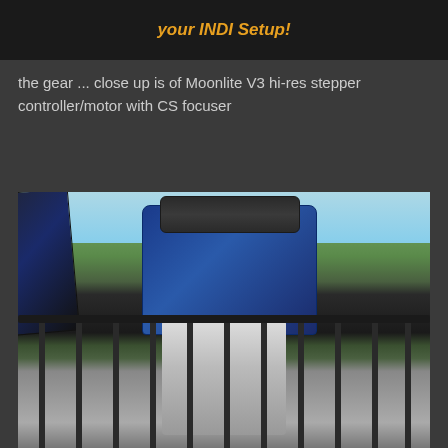your INDI Setup!
the gear ... close up is of Moonlite V3 hi-res stepper controller/motor with CS focuser
[Figure (photo): Photograph of a Meade telescope on a white equatorial mount, set up on a deck or balcony with black metal railing, surrounded by green trees and vegetation in the background. A Moonlite V3 focuser/motor is visible attached to the telescope.]